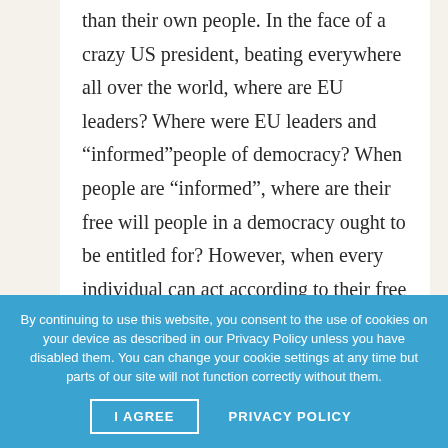than their own people. In the face of a crazy US president, beating everywhere all over the world, where are EU leaders? Where were EU leaders and “informed”people of democracy? When people are “informed”, where are their free will people in a democracy ought to be entitled for? However, when every individual can act according to their free will and not submit to rules and
By continuing to use this website, you consent to the use of cookies on your device as described in our Privacy Policy unless you have disabled them. You can change your cookie settings at any time but parts of our site will not function correctly without them.
I AGREE    PRIVACY POLICY